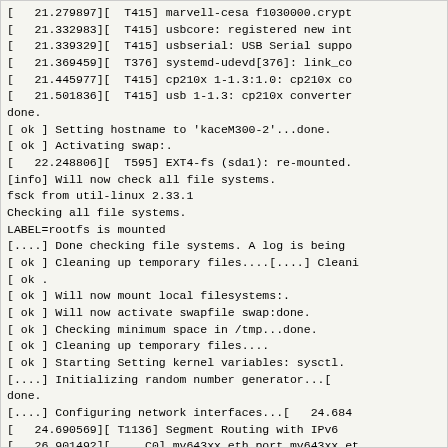[   21.279897][  T415] marvell-cesa f1030000.crypt
[   21.332983][  T415] usbcore: registered new int
[   21.339329][  T415] usbserial: USB Serial suppo
[   21.369459][  T376] systemd-udevd[376]: link_co
[   21.445977][  T415] cp210x 1-1.3:1.0: cp210x co
[   21.501836][  T415] usb 1-1.3: cp210x converter
done.
[ ok ] Setting hostname to 'kaceM300-2'...done.
[ ok ] Activating swap:.
[   22.248806][  T595] EXT4-fs (sda1): re-mounted.
[info] Will now check all file systems.
fsck from util-linux 2.33.1
Checking all file systems.
LABEL=rootfs is mounted
[....] Done checking file systems. A log is being
[ ok ] Cleaning up temporary files....[....] Cleani
[ ok .
[ ok ] Will now mount local filesystems:.
[ ok ] Will now activate swapfile swap:done.
[ ok ] Checking minimum space in /tmp...done.
[ ok ] Cleaning up temporary files....
[ ok ] Starting Setting kernel variables: sysctl.
[....] Initializing random number generator...[
done.
[....] Configuring network interfaces...[   24.684
[   24.690569][ T1136] Segment Routing with IPv6
[   26.901492][     C0] mv643xx_eth_port mv643xx_et
[   26.912115][    T15] IPv6: ADDRCONF(NETDEV_CHANG
done.
[ ok ] Starting RPC port mapper daemon: rpcbind.
[ ok ] Starting NFS common utilities: statd idmap